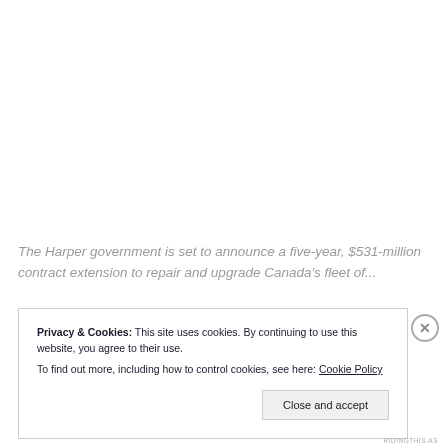The Harper government is set to announce a five-year, $531-million contract extension to repair and upgrade Canada's fleet of...
Privacy & Cookies: This site uses cookies. By continuing to use this website, you agree to their use.
To find out more, including how to control cookies, see here: Cookie Policy
Close and accept
RIDINGTHIS.AS